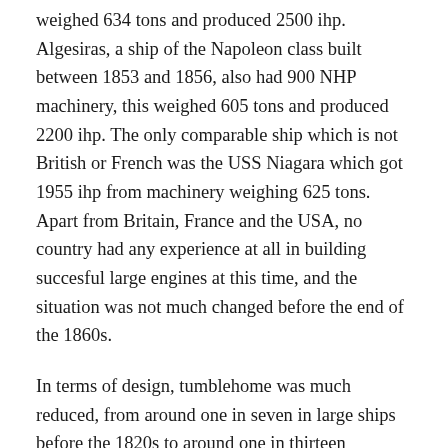weighed 634 tons and produced 2500 ihp. Algesiras, a ship of the Napoleon class built between 1853 and 1856, also had 900 NHP machinery, this weighed 605 tons and produced 2200 ihp. The only comparable ship which is not British or French was the USS Niagara which got 1955 ihp from machinery weighing 625 tons. Apart from Britain, France and the USA, no country had any experience at all in building succesful large engines at this time, and the situation was not much changed before the end of the 1860s.
In terms of design, tumblehome was much reduced, from around one in seven in large ships before the 1820s to around one in thirteen afterwards. The usual structural improvements were used: rounded and elliptical sterns, diagonal framing, hulls planked in between frames, increased use of iron, and spar decks were added to all